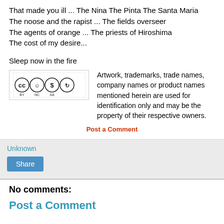That made you ill ... The Nina The Pinta The Santa Maria
The noose and the rapist ... The fields overseer
The agents of orange ... The priests of Hiroshima
The cost of my desire...
Sleep now in the fire
[Figure (logo): Creative Commons license badge: CC BY NC SA]
Artwork, trademarks, trade names, company names or product names mentioned herein are used for identification only and may be the property of their respective owners.
Post a Comment
Unknown
Share
No comments:
Post a Comment